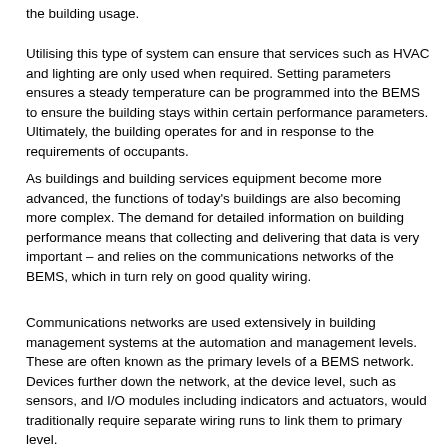the building usage.
Utilising this type of system can ensure that services such as HVAC and lighting are only used when required. Setting parameters ensures a steady temperature can be programmed into the BEMS to ensure the building stays within certain performance parameters. Ultimately, the building operates for and in response to the requirements of occupants.
As buildings and building services equipment become more advanced, the functions of today's buildings are also becoming more complex. The demand for detailed information on building performance means that collecting and delivering that data is very important – and relies on the communications networks of the BEMS, which in turn rely on good quality wiring.
Communications networks are used extensively in building management systems at the automation and management levels. These are often known as the primary levels of a BEMS network. Devices further down the network, at the device level, such as sensors, and I/O modules including indicators and actuators, would traditionally require separate wiring runs to link them to primary level.